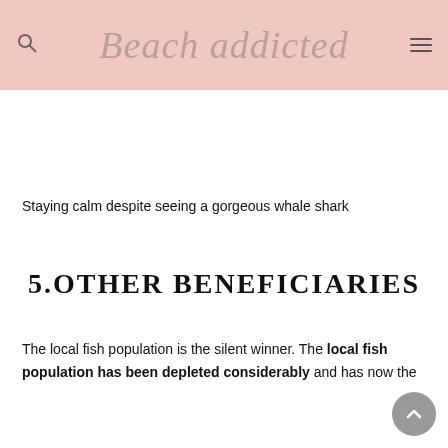Beach addicted
Staying calm despite seeing a gorgeous whale shark
5.OTHER BENEFICIARIES
The local fish population is the silent winner. The local fish population has been depleted considerably and has now the